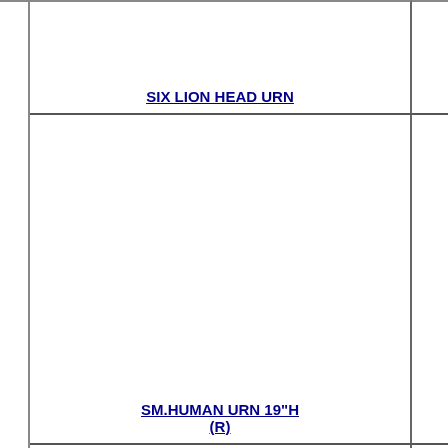SIX LION HEAD URN
SM. STAR URN 10.25"H (R)
SM.FLUTED URN (R)
SM.HUMAN URN 19"H (R)
SOBA URN 26"H (R)
SOLO URN 22.5
SPAIN GARLAND BOX 12"H (R)
SPANISH PLANTER 20"H (R)
SQUARE POT W/LINES24.5X2
SQUARE WITH LINE